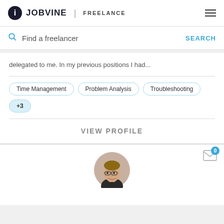JOBVINE | FREELANCE
Find a freelancer
SEARCH
delegated to me. In my previous positions I had...
Time Management
Problem Analysis
Troubleshooting
+3
VIEW PROFILE
[Figure (photo): Person profile photo - smiling person with glasses and short hair]